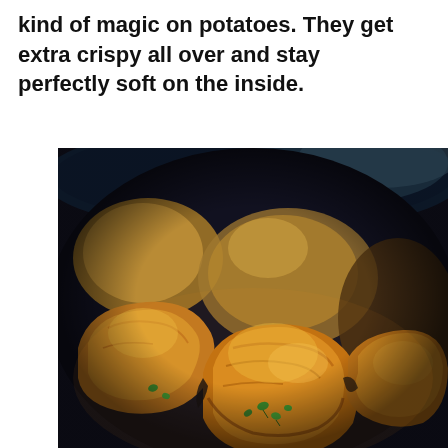kind of magic on potatoes. They get extra crispy all over and stay perfectly soft on the inside.
[Figure (photo): Close-up photo of crispy roasted potato pieces garnished with green herbs, served in a dark blue bowl. The potatoes are golden-brown and crispy on the outside.]